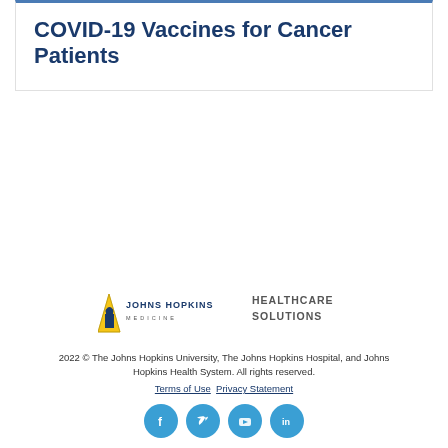COVID-19 Vaccines for Cancer Patients
[Figure (logo): Johns Hopkins Medicine logo with triangle/building icon and text 'JOHNS HOPKINS MEDICINE']
[Figure (logo): Healthcare Solutions logo with text 'HEALTHCARE SOLUTIONS']
2022 © The Johns Hopkins University, The Johns Hopkins Hospital, and Johns Hopkins Health System. All rights reserved.
Terms of Use  Privacy Statement
[Figure (infographic): Social media icons row: Facebook, Twitter, YouTube, LinkedIn — blue circles with white icons]